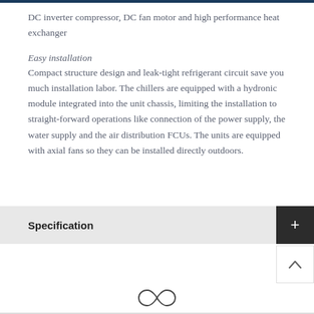DC inverter compressor, DC fan motor and high performance heat exchanger
Easy installation
Compact structure design and leak-tight refrigerant circuit save you much installation labor. The chillers are equipped with a hydronic module integrated into the unit chassis, limiting the installation to straight-forward operations like connection of the power supply, the water supply and the air distribution FCUs. The units are equipped with axial fans so they can be installed directly outdoors.
Specification
[Figure (logo): Infinity/loop logo symbol at bottom center of page]